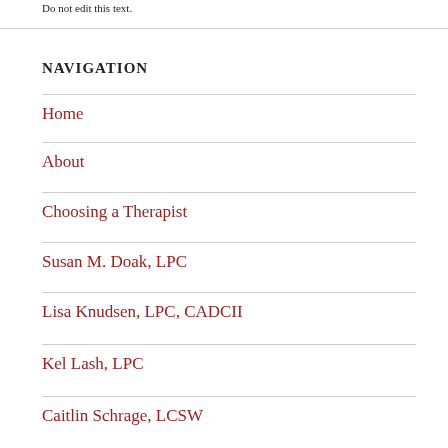Do not edit this text.
NAVIGATION
Home
About
Choosing a Therapist
Susan M. Doak, LPC
Lisa Knudsen, LPC, CADCII
Kel Lash, LPC
Caitlin Schrage, LCSW